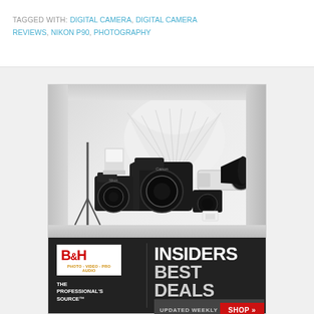TAGGED WITH: DIGITAL CAMERA, DIGITAL CAMERA REVIEWS, NIKON P90, PHOTOGRAPHY
[Figure (photo): B&H Photo advertisement showing Canon DSLR cameras, lenses, and accessories arranged in a display box. Bottom section reads 'INSIDERS BEST DEALS - UPDATED WEEKLY - SHOP' with B&H logo and 'THE PROFESSIONAL'S SOURCE' tagline.]